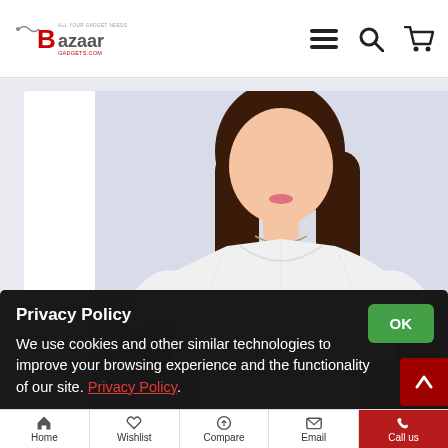Bazaar Gadgets - BazaarGadgets.com
[Figure (photo): Woman wearing a white oversized t-shirt against a light blue-grey background, product photo for an e-commerce listing]
Privacy Policy
We use cookies and other similar technologies to improve your browsing experience and the functionality of our site. Privacy Policy.
Home | Wishlist | Compare | Email | Call us